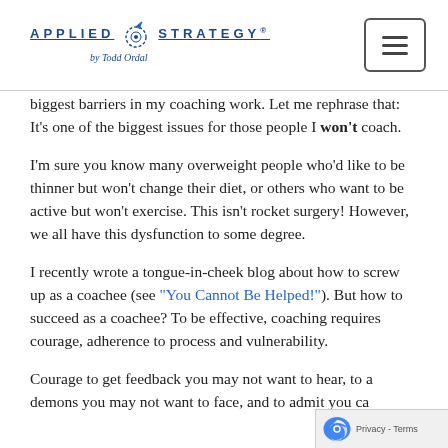APPLIED STRATEGY® by Todd Ordal
biggest barriers in my coaching work. Let me rephrase that: It's one of the biggest issues for those people I won't coach.
I'm sure you know many overweight people who'd like to be thinner but won't change their diet, or others who want to be active but won't exercise. This isn't rocket surgery! However, we all have this dysfunction to some degree.
I recently wrote a tongue-in-cheek blog about how to screw up as a coachee (see "You Cannot Be Helped!"). But how to succeed as a coachee? To be effective, coaching requires courage, adherence to process and vulnerability.
Courage to get feedback you may not want to hear, to a demons you may not want to face, and to admit you ca